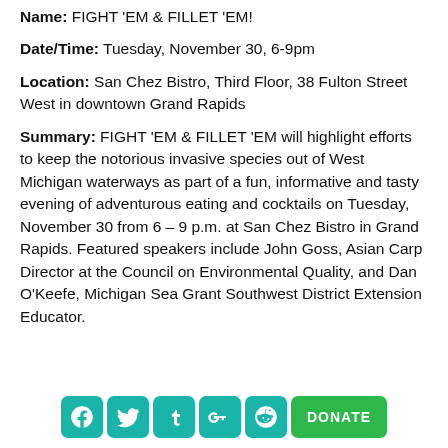Name: FIGHT 'EM & FILLET 'EM!
Date/Time: Tuesday, November 30, 6-9pm
Location: San Chez Bistro, Third Floor, 38 Fulton Street West in downtown Grand Rapids
Summary: FIGHT 'EM & FILLET 'EM will highlight efforts to keep the notorious invasive species out of West Michigan waterways as part of a fun, informative and tasty evening of adventurous eating and cocktails on Tuesday, November 30 from 6 – 9 p.m. at San Chez Bistro in Grand Rapids. Featured speakers include John Goss, Asian Carp Director at the Council on Environmental Quality, and Dan O'Keefe, Michigan Sea Grant Southwest District Extension Educator.
[Figure (infographic): Row of social media icon buttons (Facebook, Twitter, Tumblr, Google+, Reddit) in teal, and a green DONATE button]